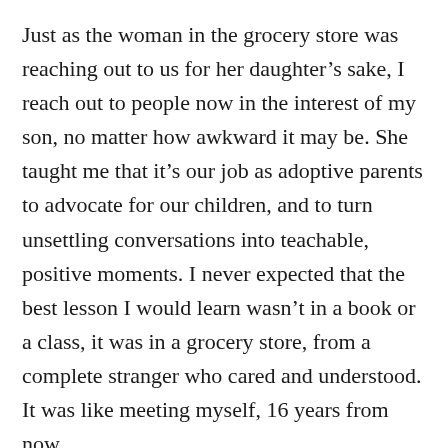Just as the woman in the grocery store was reaching out to us for her daughter’s sake, I reach out to people now in the interest of my son, no matter how awkward it may be. She taught me that it’s our job as adoptive parents to advocate for our children, and to turn unsettling conversations into teachable, positive moments. I never expected that the best lesson I would learn wasn’t in a book or a class, it was in a grocery store, from a complete stranger who cared and understood. It was like meeting myself, 16 years from now.